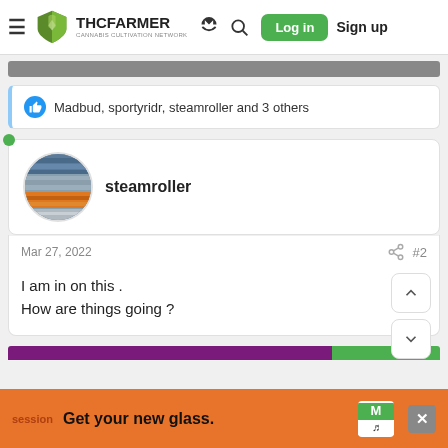THCFarmer - Cannabis Cultivation Network | Log in | Sign up
Madbud, sportyridr, steamroller and 3 others
steamroller
Mar 27, 2022  #2
I am in on this .
How are things going ?
Get your new glass.